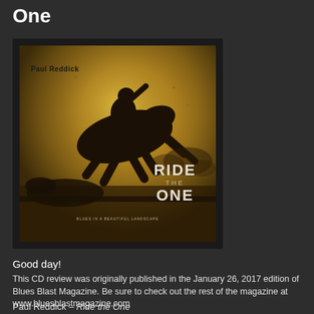One
[Figure (photo): Album cover for Paul Reddick's 'Ride the One' showing silhouettes of figures in motion against a warm golden/sepia background. Text reads 'Paul Reddick' at top left and 'RIDE THE ONE' in the lower right, with subtitle 'Blues in a Beautiful Landscape'.]
Good day!
This CD review was originally published in the January 26, 2017 edition of Blues Blast Magazine. Be sure to check out the rest of the magazine at www.bluesblastmagazine.com
Paul Reddick – Ride the One